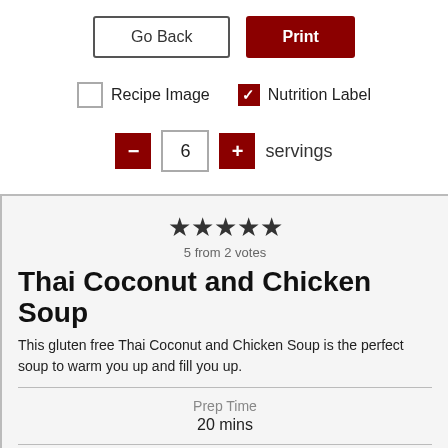[Figure (screenshot): UI controls: Go Back button and Print button]
[Figure (screenshot): Checkboxes: Recipe Image (unchecked) and Nutrition Label (checked)]
[Figure (screenshot): Servings stepper control showing 6 servings]
★★★★★
5 from 2 votes
Thai Coconut and Chicken Soup
This gluten free Thai Coconut and Chicken Soup is the perfect soup to warm you up and fill you up.
Prep Time
20 mins
Cook Time
6 hrs